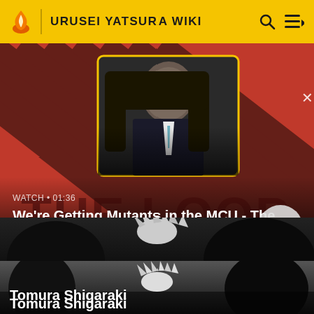URUSEI YATSURA WIKI
[Figure (screenshot): Video thumbnail showing a bald man in a suit seated in a chair, with red and dark diagonal striped background. Text overlay reads 'WATCH • 01:36' and title 'We're Getting Mutants in the MCU - The Loop'. A circular play button is visible on the right.]
We're Getting Mutants in the MCU - The Loop
[Figure (screenshot): Anime screenshot showing Tomura Shigaraki with white spiky hair, surrounded by dark shadowy figures on a grey/dark background.]
Tomura Shigaraki